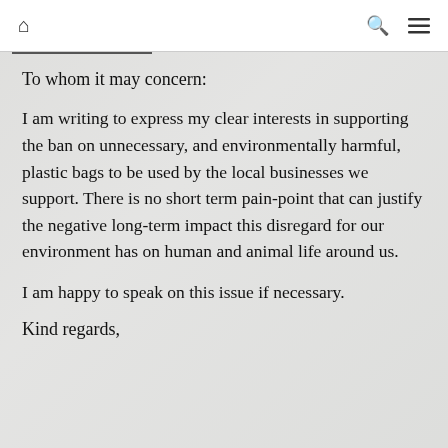⌂  🔍  ☰
To whom it may concern:
I am writing to express my clear interests in supporting the ban on unnecessary, and environmentally harmful, plastic bags to be used by the local businesses we support. There is no short term pain-point that can justify the negative long-term impact this disregard for our environment has on human and animal life around us.
I am happy to speak on this issue if necessary.
Kind regards,